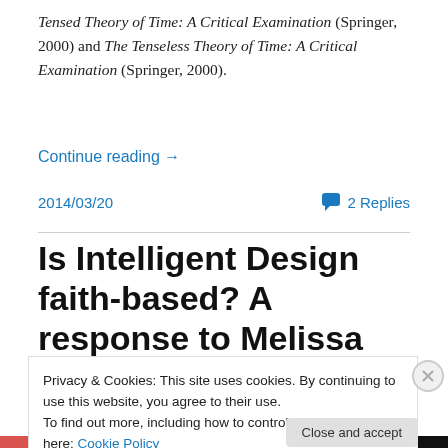Tensed Theory of Time: A Critical Examination (Springer, 2000) and The Tenseless Theory of Time: A Critical Examination (Springer, 2000).
Continue reading →
2014/03/20   💬 2 Replies
Is Intelligent Design faith-based? A response to Melissa
Privacy & Cookies: This site uses cookies. By continuing to use this website, you agree to their use.
To find out more, including how to control cookies, see here: Cookie Policy